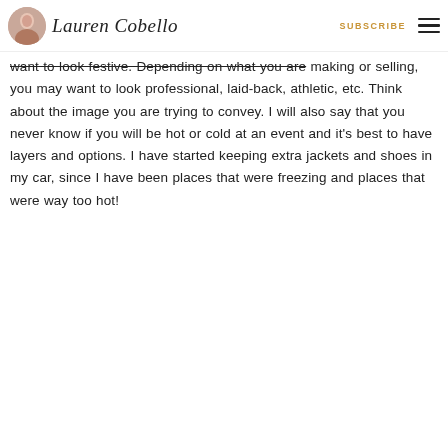Lauren Cobello | SUBSCRIBE
want to look festive.  Depending on what you are making or selling, you may want to look professional, laid-back, athletic, etc.  Think about the image you are trying to convey.  I will also say that you never know if you will be hot or cold at an event and it's best to have layers and options.  I have started keeping extra jackets and shoes in my car, since I have been places that were freezing and places that were way too hot!